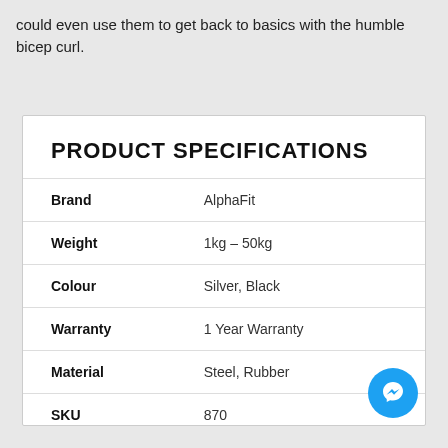could even use them to get back to basics with the humble bicep curl.
| Attribute | Value |
| --- | --- |
| Brand | AlphaFit |
| Weight | 1kg – 50kg |
| Colour | Silver, Black |
| Warranty | 1 Year Warranty |
| Material | Steel, Rubber |
| SKU | 870 |
[Figure (logo): Messenger chat button icon, circular blue background with white lightning bolt / speech bubble icon]